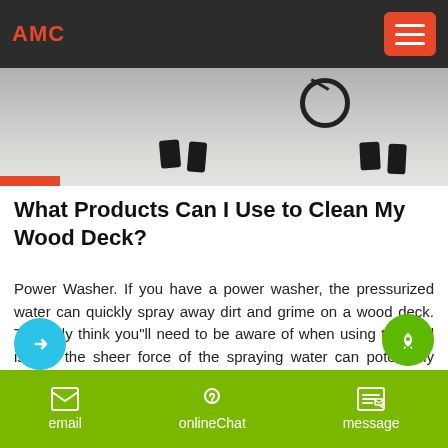AMC
[Figure (photo): Pressure washer cleaning a surface, view from above showing feet and equipment on wet ground]
What Products Can I Use to Clean My Wood Deck?
Power Washer. If you have a power washer, the pressurized water can quickly spray away dirt and grime on a wood deck. The only think you"ll need to be aware of when using this tool is that the sheer force of the spraying water can potentially damage your wood or the deck"s finish. Be sure to use this cleaner with caution.
email   onlineChat   message